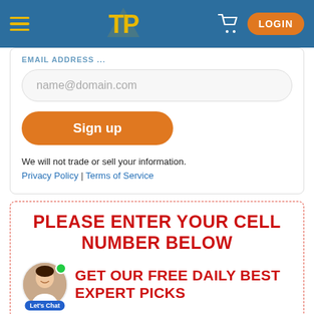Navigation bar with hamburger menu, TP logo, cart icon, and LOGIN button
EMAIL ADDRESS ...
name@domain.com
Sign up
We will not trade or sell your information.
Privacy Policy | Terms of Service
PLEASE ENTER YOUR CELL NUMBER BELOW
GET OUR FREE DAILY BEST EXPERT PICKS